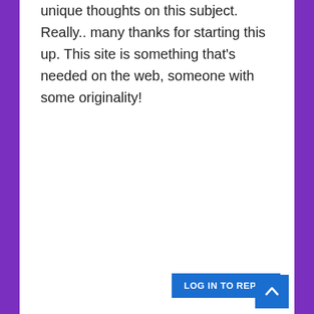unique thoughts on this subject. Really.. many thanks for starting this up. This site is something that's needed on the web, someone with some originality!
LOG IN TO REPLY
Motorhome Supply says:
January 12, 2022 at 5:02 am
Hello there! I simply wish to give you a big thumbs up for your great info you have got here on this post. I am returning to your